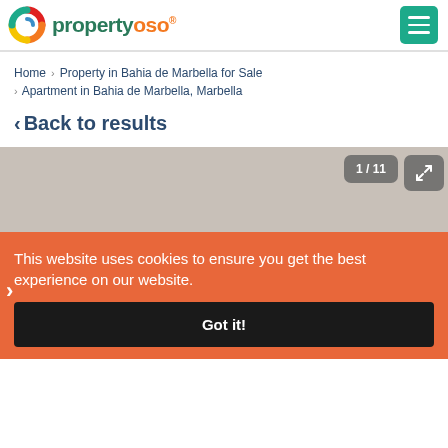[Figure (logo): propertyoso logo with colorful swirl icon and green/orange text]
Home > Property in Bahia de Marbella for Sale
> Apartment in Bahia de Marbella, Marbella
< Back to results
[Figure (photo): Property image carousel showing 1/11 counter and expand button, with navigation arrows]
This website uses cookies to ensure you get the best experience on our website.
Got it!